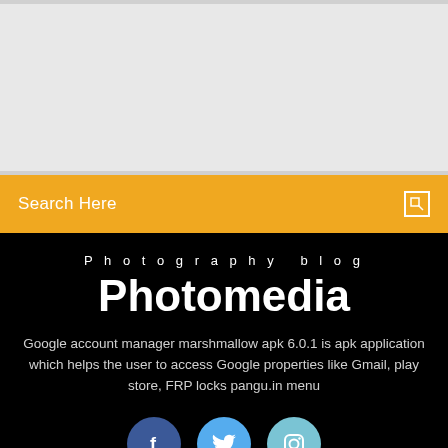[Figure (photo): Top banner image area, light grey/white, partially visible at top of page]
Search Here
Photography blog
Photomedia
Google account manager marshmallow apk 6.0.1 is apk application which helps the user to access Google properties like Gmail, play store, FRP locks pangu.in menu
[Figure (infographic): Three social media icons: Facebook (dark blue circle with f), Twitter (light blue circle with bird), Instagram (light blue/cyan circle with camera)]